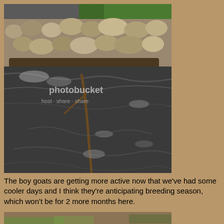[Figure (photo): A flowing stream or creek with dark water flowing over and around rocks. There is a stone wall or rocky embankment visible at the top of the image with green trees/foliage in the background. A branch or stick is visible in the water. There is a Photobucket watermark overlay on the image.]
The boy goats are getting more active now that we've had some cooler days and I think they're anticipating breeding season, which won't be for 2 more months here.
[Figure (photo): Partial view of a second photo at the bottom of the page showing an outdoor scene with brown/tan ground and some green grass visible.]